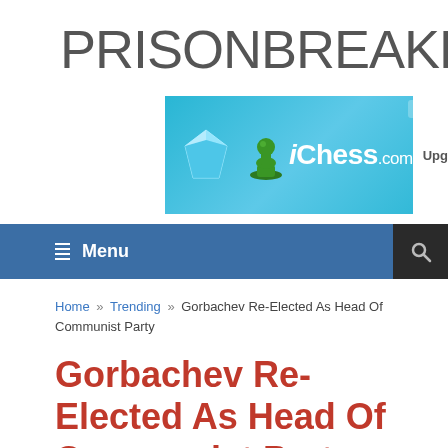PRISONBREAKFREAK.C
[Figure (screenshot): Chess.com advertisement banner with blue gradient background, diamond gem icon, chess pawn logo, 'iChess.com' text, and 'Upgra' button partially visible]
[Figure (screenshot): Navigation bar with blue background, menu icon, 'Menu' text, and dark search icon on right]
Home » Trending » Gorbachev Re-Elected As Head Of Communist Party
Gorbachev Re-Elected As Head Of Communist Party